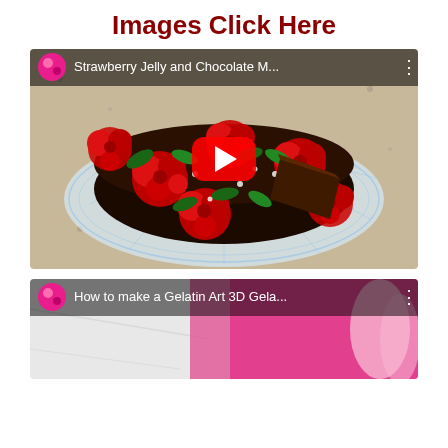Images Click Here
[Figure (screenshot): YouTube video thumbnail showing a chocolate cake decorated with 3D red rose gelatin art on a crystal plate. Title reads 'Strawberry Jelly and Chocolate M...' with a red YouTube play button in the center.]
[Figure (screenshot): YouTube video thumbnail partially visible at bottom, showing a pink/magenta background. Title reads 'How to make a Gelatin Art 3D Gela...']